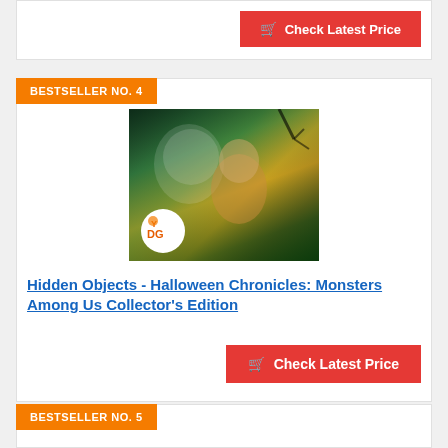Check Latest Price
BESTSELLER NO. 4
[Figure (illustration): Game cover art for Hidden Objects - Halloween Chronicles: Monsters Among Us Collector's Edition, showing a frightened woman and a clown/monster figure in a dark, eerie scene with the DG logo badge in the lower left.]
Hidden Objects - Halloween Chronicles: Monsters Among Us Collector's Edition
Check Latest Price
BESTSELLER NO. 5